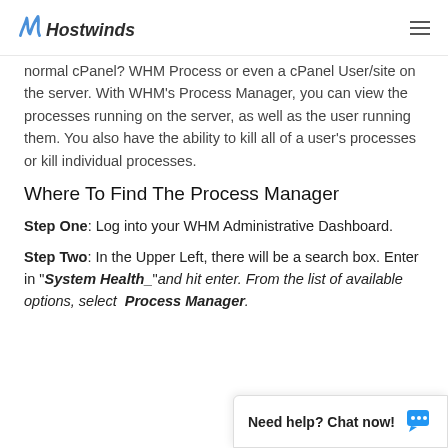Hostwinds
normal cPanel? WHM Process or even a cPanel User/site on the server. With WHM's Process Manager, you can view the processes running on the server, as well as the user running them. You also have the ability to kill all of a user's processes or kill individual processes.
Where To Find The Process Manager
Step One: Log into your WHM Administrative Dashboard.
Step Two: In the Upper Left, there will be a search box. Enter in "System Health_"and hit enter. From the list of available options, select  Process Manager.